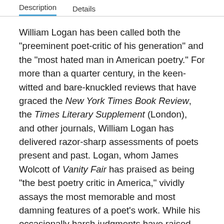Description   Details
William Logan has been called both the "preeminent poet-critic of his generation" and the "most hated man in American poetry." For more than a quarter century, in the keen-witted and bare-knuckled reviews that have graced the New York Times Book Review, the Times Literary Supplement (London), and other journals, William Logan has delivered razor-sharp assessments of poets present and past. Logan, whom James Wolcott of Vanity Fair has praised as being "the best poetry critic in America," vividly assays the most memorable and most damning features of a poet's work. While his occasionally harsh judgments have raised some eyebrows and caused their share of controversy (a number of poets have offered to do him bodily harm), his readings offer the fresh and